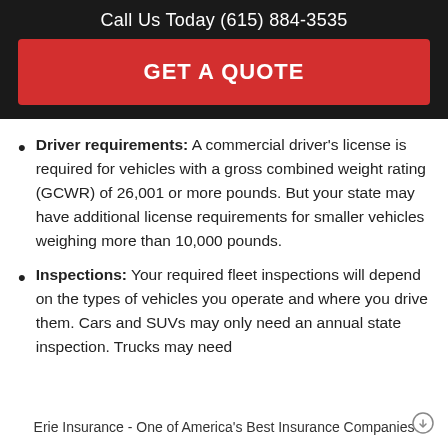Call Us Today (615) 884-3535
GET A QUOTE
Driver requirements: A commercial driver's license is required for vehicles with a gross combined weight rating (GCWR) of 26,001 or more pounds. But your state may have additional license requirements for smaller vehicles weighing more than 10,000 pounds.
Inspections: Your required fleet inspections will depend on the types of vehicles you operate and where you drive them. Cars and SUVs may only need an annual state inspection. Trucks may need
Erie Insurance - One of America's Best Insurance Companies